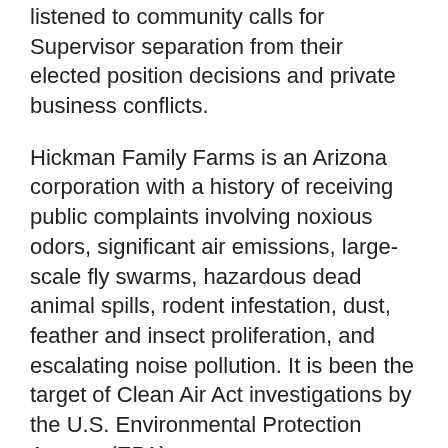listened to community calls for Supervisor separation from their elected position decisions and private business conflicts.
Hickman Family Farms is an Arizona corporation with a history of receiving public complaints involving noxious odors, significant air emissions, large-scale fly swarms, hazardous dead animal spills, rodent infestation, dust, feather and insect proliferation, and escalating noise pollution. It is been the target of Clean Air Act investigations by the U.S. Environmental Protection Agency (EPA).
Videos highlighting the impact and effects of the Hickman operations on the residents of Tonopah can be found at STOPP YouTube channel.
Plans for the Hickman egg operation are to expand to nearly 10 million birds at an industrial-scale compound of 28 laying houses, 2 processing plants